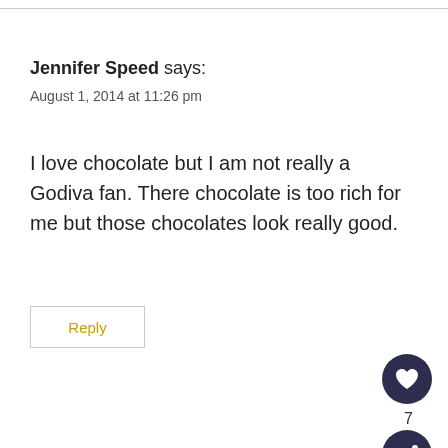Jennifer Speed says:
August 1, 2014 at 11:26 pm
I love chocolate but I am not really a Godiva fan. There chocolate is too rich for me but those chocolates look really good.
Reply
7
WHAT'S NEXT → Godiva Summer of...
Andi Fisher says:
Shop Walgreens Brand Health & Wellness Today